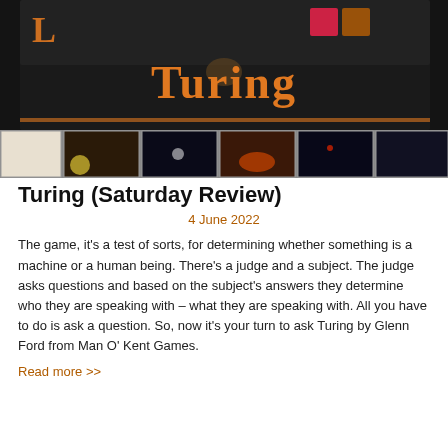[Figure (photo): Photograph of the Turing board game box with orange text on a dark background, surrounded by illustrated game cards in a grid]
Turing (Saturday Review)
4 June 2022
The game, it's a test of sorts, for determining whether something is a machine or a human being. There's a judge and a subject. The judge asks questions and based on the subject's answers they determine who they are speaking with – what they are speaking with. All you have to do is ask a question. So, now it's your turn to ask Turing by Glenn Ford from Man O' Kent Games.
Read more >>